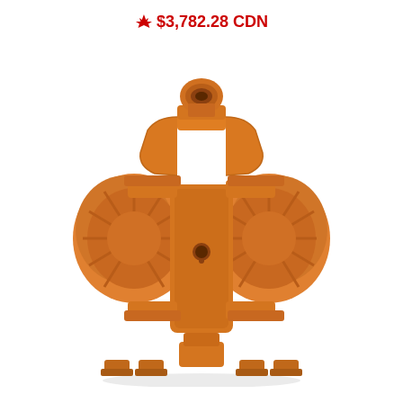🍁 $3,782.28 CDN
[Figure (photo): Orange/copper-colored double diaphragm pump (air-operated), front view, showing symmetric dual diaphragm chambers, top inlet/outlet manifold with circular port, flanged connections, ribbed housing, and mounting feet at the bottom. Industrial pump product photo on white background.]